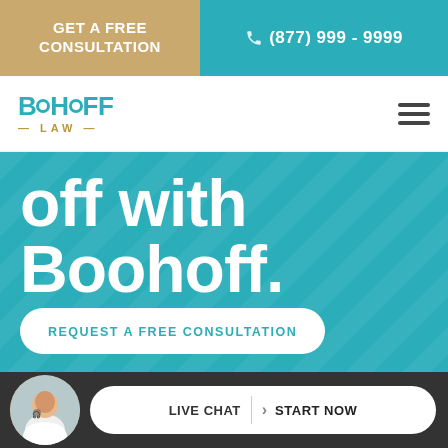GET A FREE CONSULTATION | (877) 999 - 9999
[Figure (logo): Boohoff Law logo with teal text and gold dashes]
off with Boohoff.
REQUEST A FREE CONSULTATION
LIVE CHAT  START NOW